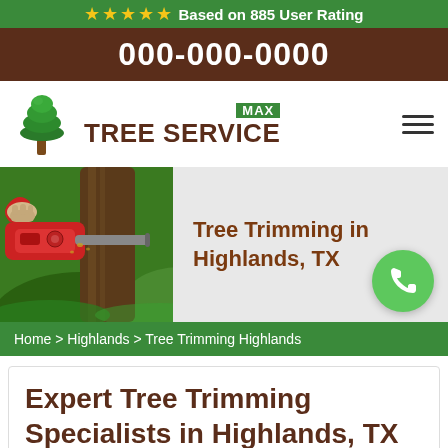★★★★★ Based on 885 User Rating
000-000-0000
[Figure (logo): Max Tree Service logo with green tree icon and brown text]
[Figure (photo): Photo of chainsaw cutting a tree trunk on the left; right side shows text 'Tree Trimming in Highlands, TX' with green phone badge]
Home > Highlands > Tree Trimming Highlands
Expert Tree Trimming Specialists in Highlands, TX